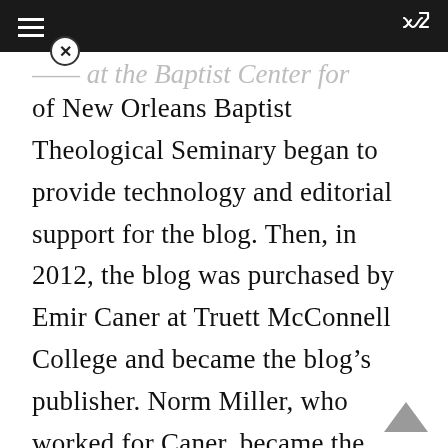of New Orleans Baptist Theological Seminary began to provide technology and editorial support for the blog. Then, in 2012, the blog was purchased by Emir Caner at Truett McConnell College and became the blog’s publisher. Norm Miller, who worked for Caner, became the blog’s editor. In 2014 the blog was acquired by Connect316, an anti-Calvinism group in the SBC and Pastor Rick Patrick became the blog’s publisher, with Jonathan Carter becoming the blog’s editor.